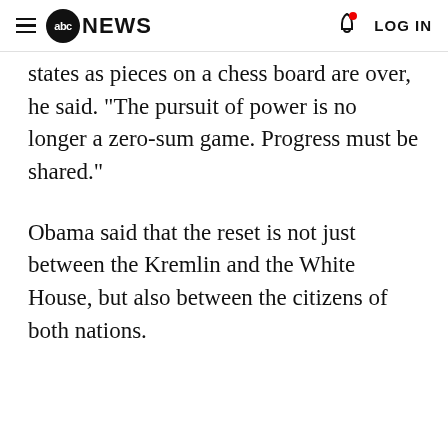abc NEWS  LOG IN
states as pieces on a chess board are over, he said. "The pursuit of power is no longer a zero-sum game. Progress must be shared."
Obama said that the reset is not just between the Kremlin and the White House, but also between the citizens of both nations.